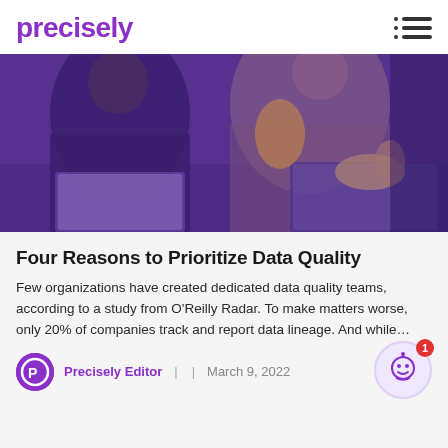precisely
[Figure (photo): Two people working at laptops in a collaborative office setting; image has a purple/blue tint overlay]
Four Reasons to Prioritize Data Quality
Few organizations have created dedicated data quality teams, according to a study from O'Reilly Radar. To make matters worse, only 20% of companies track and report data lineage. And while…
Precisely Editor  |  |  March 9, 2022